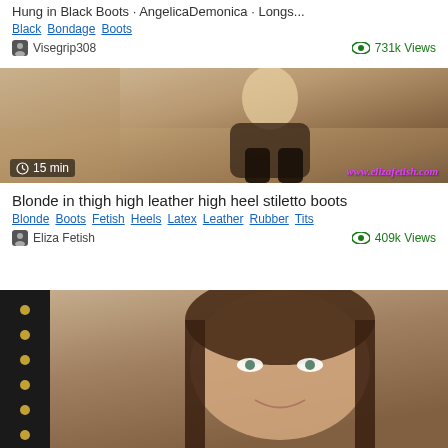Hung in Black Boots · AngelicaDemonica · Longs...
Black  Bondage  Boots
Visegrip308   731k Views
[Figure (photo): Video thumbnail showing a blonde woman in black leather corset and thigh-high black stiletto boots, sitting. Duration badge: 15 min. Watermark: www.elizafetish.com]
Blonde in thigh high leather high heel stiletto boots
Blonde  Boots  Fetish  Heels  Latex  Leather  Rubber  Tits
Eliza Fetish   409k Views
[Figure (photo): Video thumbnail showing a brunette woman with brown hair looking at the camera, with a dark studded frame on left side]